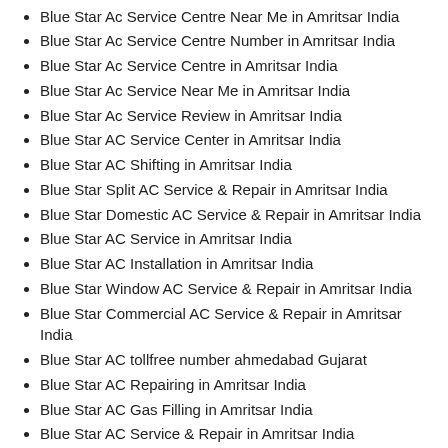Blue Star Ac Service Centre Near Me in Amritsar India
Blue Star Ac Service Centre Number in Amritsar India
Blue Star Ac Service Centre in Amritsar India
Blue Star Ac Service Near Me in Amritsar India
Blue Star Ac Service Review in Amritsar India
Blue Star AC Service Center in Amritsar India
Blue Star AC Shifting in Amritsar India
Blue Star Split AC Service & Repair in Amritsar India
Blue Star Domestic AC Service & Repair in Amritsar India
Blue Star AC Service in Amritsar India
Blue Star AC Installation in Amritsar India
Blue Star Window AC Service & Repair in Amritsar India
Blue Star Commercial AC Service & Repair in Amritsar India
Blue Star AC tollfree number ahmedabad Gujarat
Blue Star AC Repairing in Amritsar India
Blue Star AC Gas Filling in Amritsar India
Blue Star AC Service & Repair in Amritsar India
Blue Star AC services in Amritsar India
Blue Star AC service center in Amritsar India
Blue Star AC repairing center in Amritsar India
Blue Star Repair and services in Amritsar India
Blue Star Split AC cooling problem in Amritsar India
Blue Star AC customer care number in Amritsar India